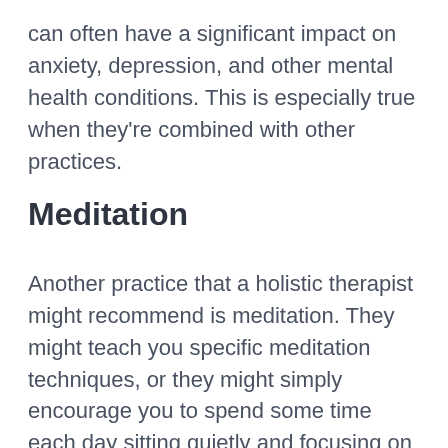can often have a significant impact on anxiety, depression, and other mental health conditions. This is especially true when they're combined with other practices.
Meditation
Another practice that a holistic therapist might recommend is meditation. They might teach you specific meditation techniques, or they might simply encourage you to spend some time each day sitting quietly and focusing on your breath.
Meditation offers a whole host of mental health benefits that include the following…